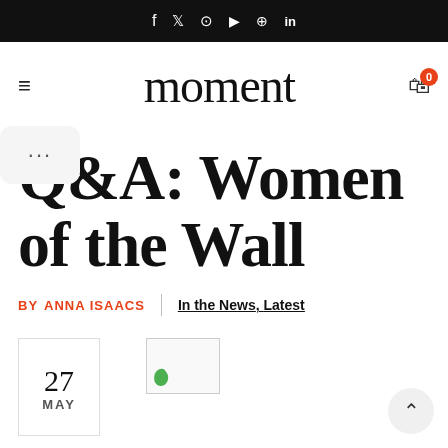f  𝕏  ⊙  ▶  ⊕  in
moment
Q&A: Women of the Wall
BY ANNA ISAACS | In the News, Latest
27 MAY
[Figure (photo): Small thumbnail image placeholder with a green leaf icon in the corner]